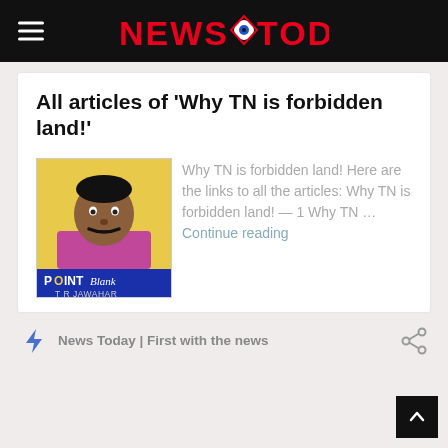NEWS TODAY
All articles of ‘Why TN is forbidden land!’
Why TN is forbidden land! Here are the links to all the articles: Why TN is forbidden land! — 1 Why TN … Continue reading
[Figure (photo): Thumbnail photo of T R Jawahar with Point Blank label]
News Today | First with the news